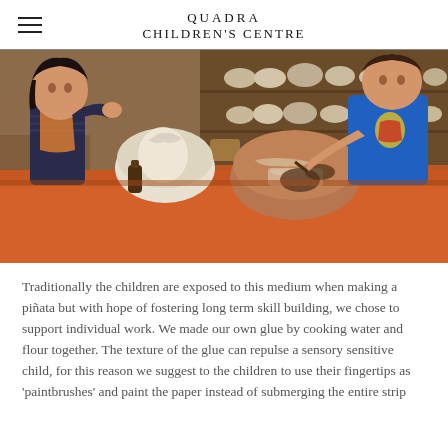QUADRA CHILDREN'S CENTRE
[Figure (photo): Two children working on paper mache projects on an orange-covered table. A girl on the left in a dark striped outfit and a boy on the right in a blue Superman shirt are painting large bowl-shaped paper mache objects. Shelves with various containers are visible in the background.]
Traditionally the children are exposed to this medium when making a piñata but with hope of fostering long term skill building, we chose to support individual work.  We made our own glue by cooking water and flour together. The texture of the glue can repulse a sensory sensitive child, for this reason we suggest to the children to use their fingertips as 'paintbrushes' and paint the paper instead of submerging the entire strip